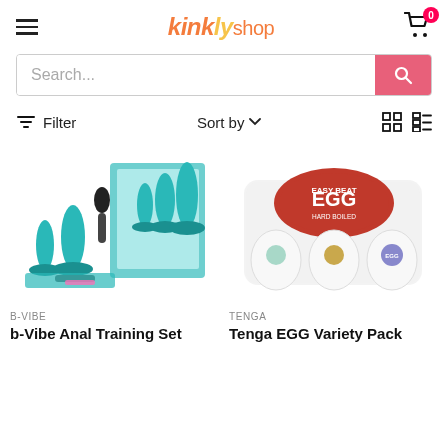kinkly shop — cart: 0
Search...
Filter   Sort by   grid/list view
[Figure (photo): b-Vibe Anal Training Set product photo showing teal butt plugs, black bulb syringe, and product box]
[Figure (photo): Tenga EGG Variety Pack product photo showing six eggs in clear plastic packaging with red EGG label]
B-VIBE
b-Vibe Anal Training Set
TENGA
Tenga EGG Variety Pack